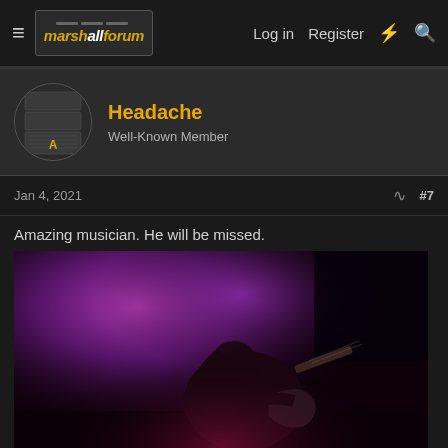marshallforum — Log in  Register
Headache
Well-Known Member
Jan 4, 2021   #7
Amazing musician. He will be missed.
[Figure (photo): Concert photo of a long-haired guitarist performing on stage, bending over guitar, with purple/magenta stage lighting in the background]